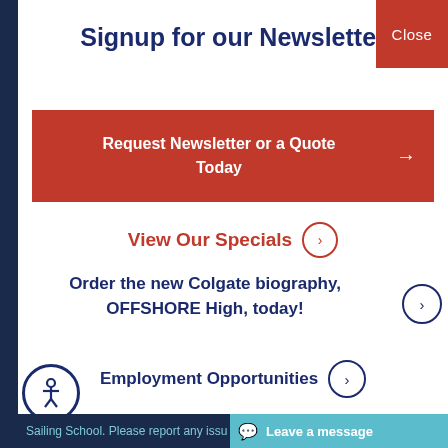Signup for our Newsletter
Request Newsletter or a Quote Today
View Our Specials
Order the new Colgate biography, OFFSHORE High, today!
Employment Opportunities
Sailing School. Please report any issu... Leave a message